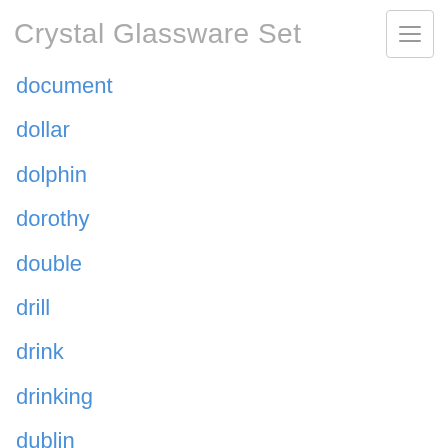Crystal Glassware Set
document
dollar
dolphin
dorothy
double
drill
drink
drinking
dublin
duncan
durand
eapg